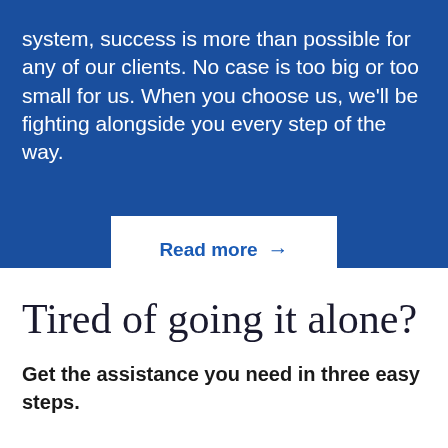system, success is more than possible for any of our clients. No case is too big or too small for us. When you choose us, we'll be fighting alongside you every step of the way.
Read more →
Tired of going it alone?
Get the assistance you need in three easy steps.